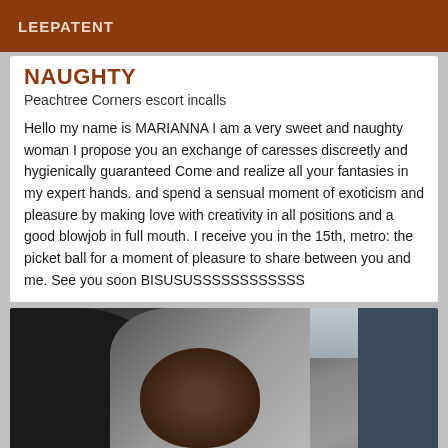LEEPATENT
NAUGHTY
Peachtree Corners escort incalls
Hello my name is MARIANNA I am a very sweet and naughty woman I propose you an exchange of caresses discreetly and hygienically guaranteed Come and realize all your fantasies in my expert hands. and spend a sensual moment of exoticism and pleasure by making love with creativity in all positions and a good blowjob in full mouth. I receive you in the 15th, metro: the picket ball for a moment of pleasure to share between you and me. See you soon BISUSUSSSSSSSSSSSS
[Figure (photo): A person photographed inside a vehicle, dark hair visible, with car interior ceiling and panels in background]